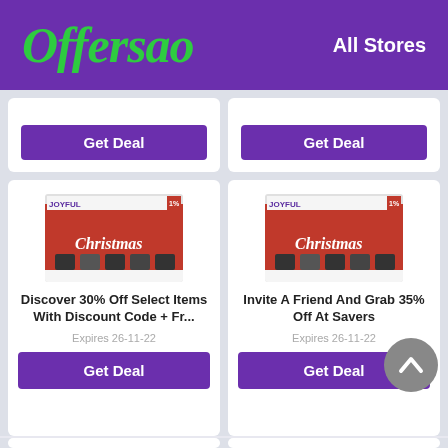Offersao — All Stores
[Figure (screenshot): Partial deal card with Get Deal button (top left)]
[Figure (screenshot): Partial deal card with Get Deal button (top right)]
[Figure (photo): Christmas product image for Discover 30% Off deal]
Discover 30% Off Select Items With Discount Code + Fr...
Expires 26-11-22
[Figure (photo): Christmas product image for Invite A Friend deal]
Invite A Friend And Grab 35% Off At Savers
Expires 26-11-22
[Figure (screenshot): Partial deal card bottom left (partially visible)]
[Figure (screenshot): Partial deal card bottom right (partially visible)]